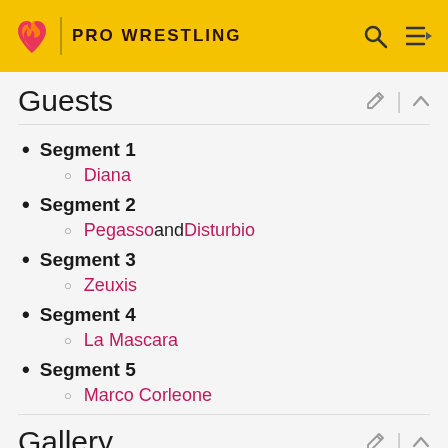PRO WRESTLING
Guests
Segment 1
Diana
Segment 2
Pegasso and Disturbio
Segment 3
Zeuxis
Segment 4
La Mascara
Segment 5
Marco Corleone
Gallery